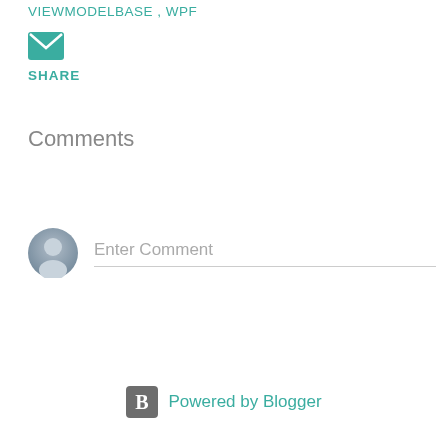VIEWMODELBASE , WPF
[Figure (illustration): Email/envelope icon in teal color, small square button]
SHARE
Comments
[Figure (illustration): Default user avatar (gray person silhouette in circle) next to an 'Enter Comment' input field with a gray underline]
Powered by Blogger